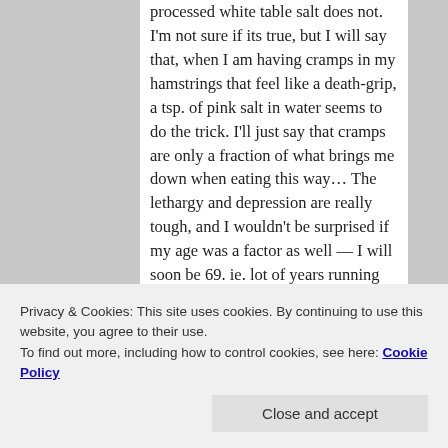processed white table salt does not. I'm not sure if its true, but I will say that, when I am having cramps in my hamstrings that feel like a death-grip, a tsp. of pink salt in water seems to do the trick. I'll just say that cramps are only a fraction of what brings me down when eating this way… The lethargy and depression are really tough, and I wouldn't be surprised if my age was a factor as well — I will soon be 69. ie. lot of years running on glucose.
Privacy & Cookies: This site uses cookies. By continuing to use this website, you agree to their use.
To find out more, including how to control cookies, see here: Cookie Policy
E, methylated B12, ALA, bio-ident-